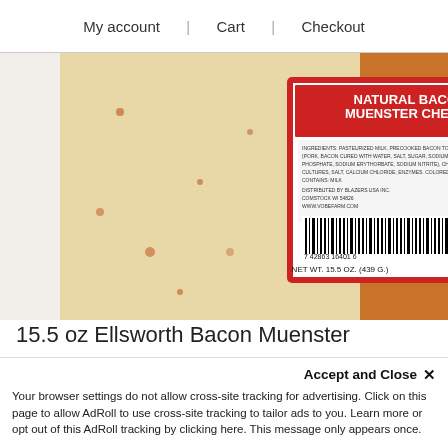My account | Cart | Checkout
[Figure (photo): Close-up photo of a block of Natural Bacon Muenster Cheese with a label showing barcode and NET WT. 15.5 OZ. (439 G.)]
15.5 oz Ellsworth Bacon Muenster
$5.99
Accept and Close ✕
Your browser settings do not allow cross-site tracking for advertising. Click on this page to allow AdRoll to use cross-site tracking to tailor ads to you. Learn more or opt out of this AdRoll tracking by clicking here. This message only appears once.